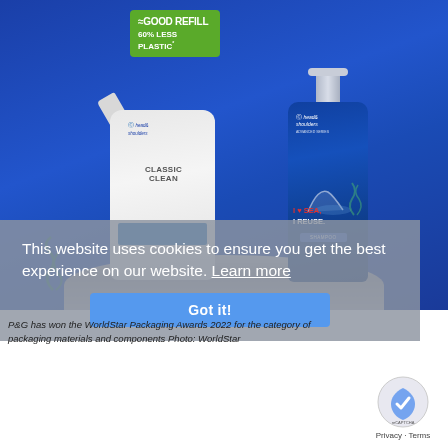[Figure (photo): Head & Shoulders Classic Clean shampoo product photo on blue background showing a white refill pouch labeled 'The Good Refill - 60% Less Plastic' with green tag, next to a blue pump bottle labeled 'I Love Sea, I Reuse' on a grey pedestal platform. Cookie consent overlay partially covers lower portion.]
P&G has won the WorldStar Packaging Awards 2022 for the category of packaging materials and components Photo: WorldStar